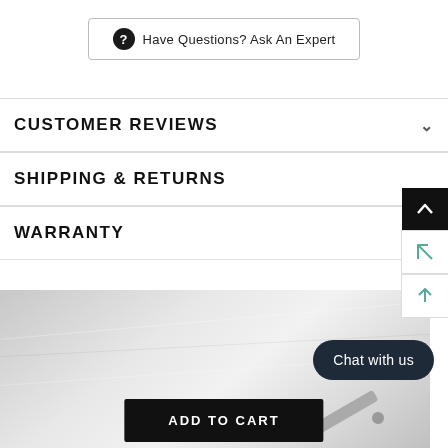Have Questions? Ask An Expert
CUSTOMER REVIEWS
SHIPPING & RETURNS
WARRANTY
[Figure (photo): Close-up photo of white fabric/paper with a pen or writing instrument, partially visible.]
Chat with us
ADD TO CART